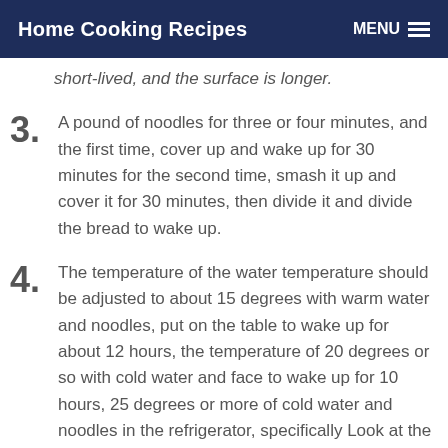Home Cooking Recipes   MENU
short-lived, and the surface is longer.
3. A pound of noodles for three or four minutes, and the first time, cover up and wake up for 30 minutes for the second time, smash it up and cover it for 30 minutes, then divide it and divide the bread to wake up.
4. The temperature of the water temperature should be adjusted to about 15 degrees with warm water and noodles, put on the table to wake up for about 12 hours, the temperature of 20 degrees or so with cold water and face to wake up for 10 hours, 25 degrees or more of cold water and noodles in the refrigerator, specifically Look at the temperature of